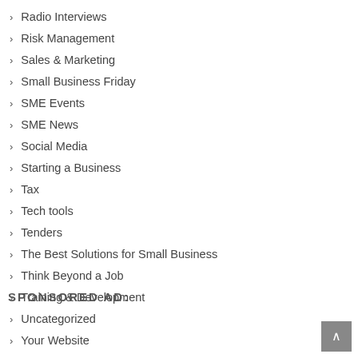Radio Interviews
Risk Management
Sales & Marketing
Small Business Friday
SME Events
SME News
Social Media
Starting a Business
Tax
Tech tools
Tenders
The Best Solutions for Small Business
Think Beyond a Job
Training & Development
Uncategorized
Your Website
SPONSORED AD: